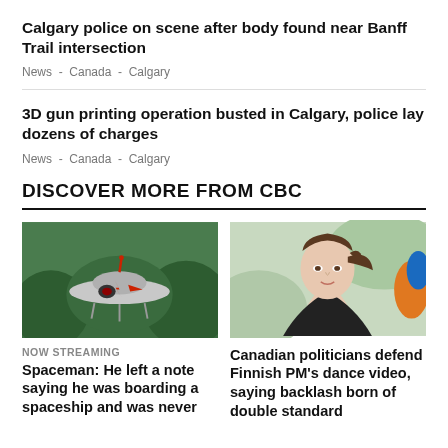Calgary police on scene after body found near Banff Trail intersection
News  -  Canada  -  Calgary
3D gun printing operation busted in Calgary, police lay dozens of charges
News  -  Canada  -  Calgary
DISCOVER MORE FROM CBC
[Figure (photo): A UFO-shaped structure (Spaceman exhibit) on stilts surrounded by green trees]
[Figure (photo): A young woman with brown hair in a ponytail, looking to the side outdoors]
NOW STREAMING
Spaceman: He left a note saying he was boarding a spaceship and was never
Canadian politicians defend Finnish PM's dance video, saying backlash born of double standard